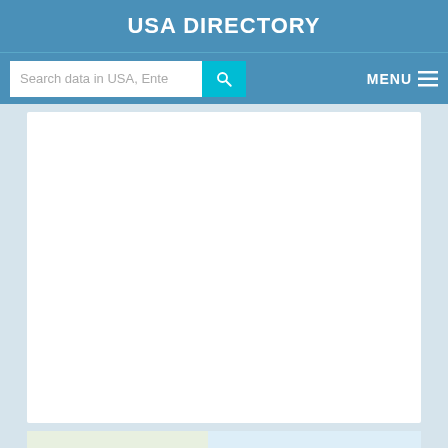USA DIRECTORY
[Figure (screenshot): Navigation bar with search input field showing 'Search data in USA, Ente', a cyan search button with magnifying glass icon, and a MENU button with hamburger icon on the right, all on a steel blue background]
[Figure (screenshot): White content area (advertisement or blank content block)]
| Entity Id | 19901101654 |
| --- | --- |